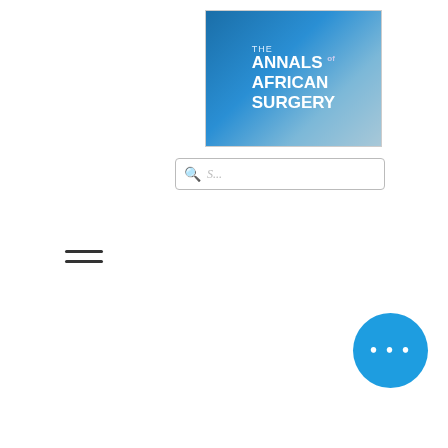[Figure (logo): The Annals of African Surgery journal logo — blue/teal background with white bold text]
[Figure (screenshot): Search bar with magnifying glass icon]
[Figure (illustration): Hamburger menu icon (three horizontal lines)]
nt was injury in 0), next –48). a high rauma npared eports.
Policymakers and stakeholders should work on regulatory laws on transportation; pre-hospital emergency medical care system is also in high demand.
Protocol registration: This review was registered in Prospero international prospective register of systematic reviews (CRD42020146643).